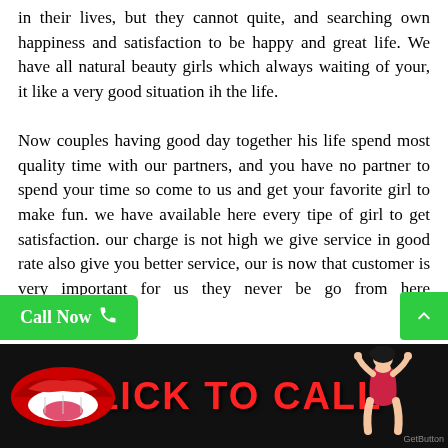in their lives, but they cannot quite, and searching own happiness and satisfaction to be happy and great life. We have all natural beauty girls which always waiting of your, it like a very good situation ih the life.
Now couples having good day together his life spend most quality time with our partners, and you have no partner to spend your time so come to us and get your favorite girl to make fun. we have available here every tipe of girl to get satisfaction. our charge is not high we give service in good rate also give you better service, our is now that customer is very important for us they never be go from here unsatisfied.
call us anytime we will provide you some original pictures of girl to choose your soul mate then you should come here to take her in your place, you should also give us feedback about your
[Figure (infographic): Black banner at the bottom with red lips graphic on the left, pin-up girl on the right, and red bold text 'CLICK TO CALL' in the center. Green 'Call Now' button with phone icon on the lower left, green scroll-up button on the lower right.]